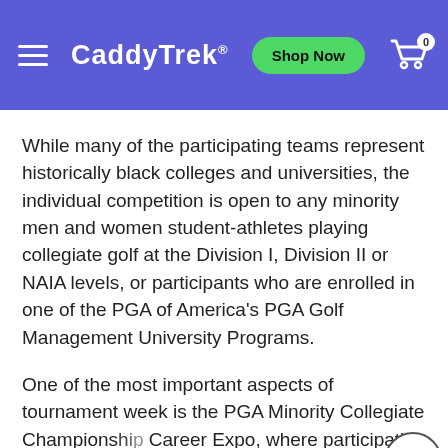CaddyTrek
While many of the participating teams represent historically black colleges and universities, the individual competition is open to any minority men and women student-athletes playing collegiate golf at the Division I, Division II or NAIA levels, or participants who are enrolled in one of the PGA of America's PGA Golf Management University Programs.
One of the most important aspects of tournament week is the PGA Minority Collegiate Championship Career Expo, where participating student-athletes